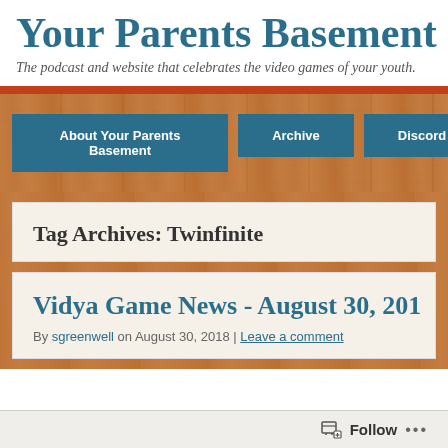Your Parents Basement
The podcast and website that celebrates the video games of your youth.
About Your Parents Basement
Archive
Discord
Tag Archives: Twinfinite
Vidya Game News - August 30, 2018
By sgreenwell on August 30, 2018 | Leave a comment
Follow